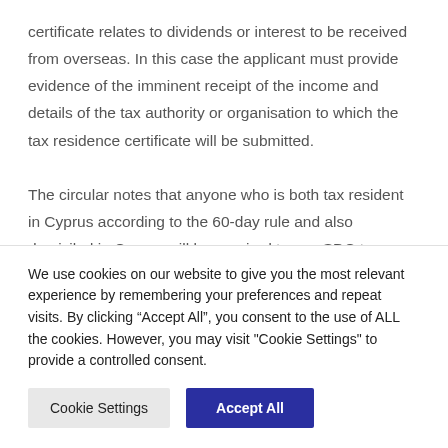certificate relates to dividends or interest to be received from overseas. In this case the applicant must provide evidence of the imminent receipt of the income and details of the tax authority or organisation to which the tax residence certificate will be submitted.

The circular notes that anyone who is both tax resident in Cyprus according to the 60-day rule and also domiciled in Cyprus will be required to pay SDC tax.
We use cookies on our website to give you the most relevant experience by remembering your preferences and repeat visits. By clicking “Accept All”, you consent to the use of ALL the cookies. However, you may visit "Cookie Settings" to provide a controlled consent.